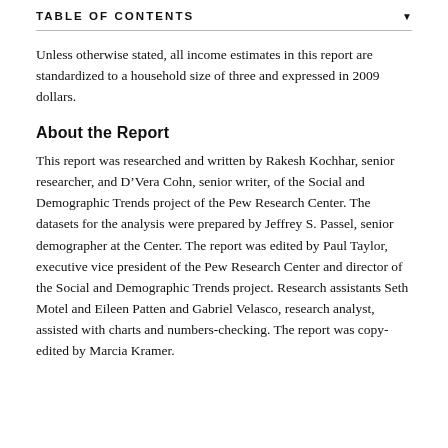TABLE OF CONTENTS
Unless otherwise stated, all income estimates in this report are standardized to a household size of three and expressed in 2009 dollars.
About the Report
This report was researched and written by Rakesh Kochhar, senior researcher, and D’Vera Cohn, senior writer, of the Social and Demographic Trends project of the Pew Research Center. The datasets for the analysis were prepared by Jeffrey S. Passel, senior demographer at the Center. The report was edited by Paul Taylor, executive vice president of the Pew Research Center and director of the Social and Demographic Trends project. Research assistants Seth Motel and Eileen Patten and Gabriel Velasco, research analyst, assisted with charts and numbers-checking. The report was copy-edited by Marcia Kramer.